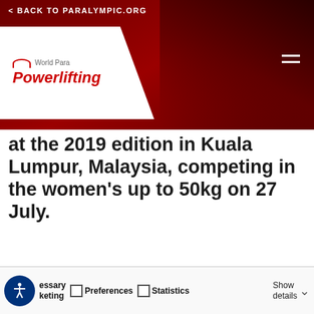< BACK TO PARALYMPIC.ORG
[Figure (logo): World Para Powerlifting logo on white chevron background with dark red header]
at the 2019 edition in Kuala Lumpur, Malaysia, competing in the women's up to 50kg on 27 July.
This website uses cookies
We use cookies to personalise content and ads, to provide social media features and to analyse our traffic. We also share information about your use of our site with our social media, advertising and analytics partners who may combine it with other information that you've provided to them or that they've collected from your use of their services.
Allow all cookies
Allow selection
Use necessary cookies on
essary
keting
Preferences
Statistics
Show details